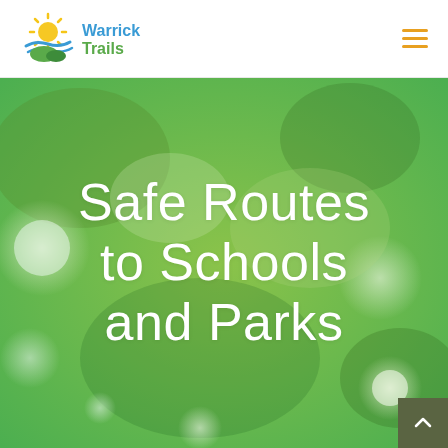[Figure (logo): Warrick Trails logo with sun, water and leaf graphic on left, text 'Warrick Trails' on right in teal/green]
[Figure (illustration): Hamburger menu icon with three horizontal orange lines in top-right corner of header]
[Figure (photo): Green bokeh background photo with soft circular light spots in various shades of green]
Safe Routes to Schools and Parks